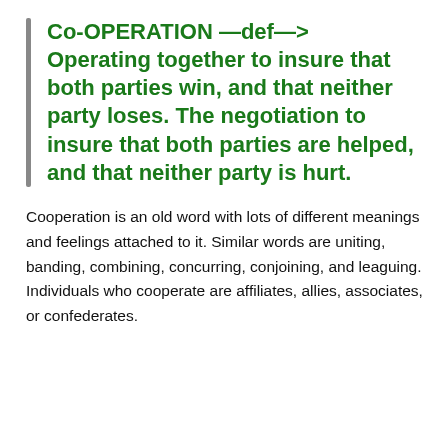Co-OPERATION —def—> Operating together to insure that both parties win, and that neither party loses. The negotiation to insure that both parties are helped, and that neither party is hurt.
Cooperation is an old word with lots of different meanings and feelings attached to it. Similar words are uniting, banding, combining, concurring, conjoining, and leaguing. Individuals who cooperate are affiliates, allies, associates, or confederates.